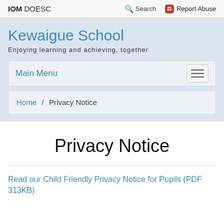IOM DOESC   Search   Report Abuse
Kewaigue School
Enjoying learning and achieving, together
Main Menu
Home / Privacy Notice
Privacy Notice
Read our Child Friendly Privacy Notice for Pupils (PDF 313KB)